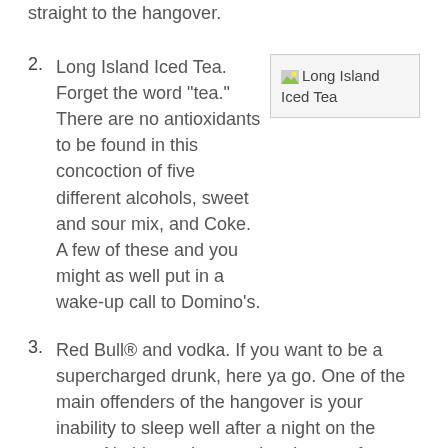straight to the hangover.
2. Long Island Iced Tea. Forget the word "tea." There are no antioxidants to be found in this concoction of five different alcohols, sweet and sour mix, and Coke. A few of these and you might as well put in a wake-up call to Domino's.
[Figure (photo): Image placeholder labeled 'Long Island Iced Tea']
3. Red Bull® and vodka. If you want to be a supercharged drunk, here ya go. One of the main offenders of the hangover is your inability to sleep well after a night on the town. Nothing enhances the chance of seeing dawn's early light like a couple of these. The only positive is that maybe you'll dance all night and work off the calories. Hopefully, you don't have to work the next day.
4. Jack and Coke. You might as well just mainline your